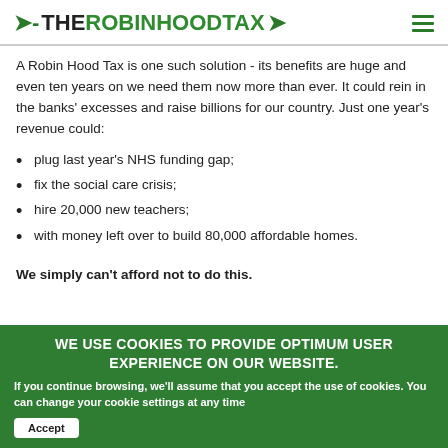THE ROBIN HOOD TAX
A Robin Hood Tax is one such solution - its benefits are huge and even ten years on we need them now more than ever. It could rein in the banks' excesses and raise billions for our country. Just one year's revenue could:
plug last year’s NHS funding gap;
fix the social care crisis;
hire 20,000 new teachers;
with money left over to build 80,000 affordable homes.
We simply can’t afford not to do this.
WE USE COOKIES TO PROVIDE OPTIMUM USER EXPERIENCE ON OUR WEBSITE. If you continue browsing, we’ll assume that you accept the use of cookies. You can change your cookie settings at any time